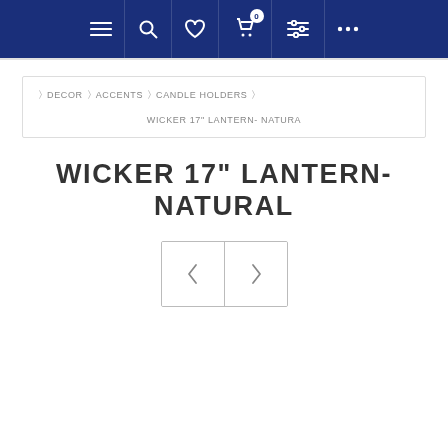Navigation bar with menu, search, wishlist, cart (0), filters, and more icons
DECOR > ACCENTS > CANDLE HOLDERS > WICKER 17" LANTERN- NATURA
WICKER 17" LANTERN- NATURAL
[Figure (other): Previous and next navigation arrow buttons in a bordered box]